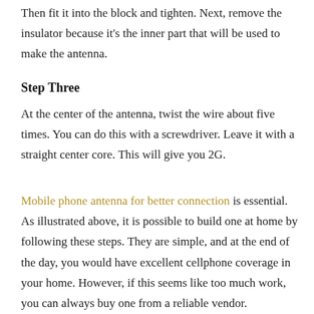Then fit it into the block and tighten. Next, remove the insulator because it's the inner part that will be used to make the antenna.
Step Three
At the center of the antenna, twist the wire about five times. You can do this with a screwdriver. Leave it with a straight center core. This will give you 2G.
Mobile phone antenna for better connection is essential. As illustrated above, it is possible to build one at home by following these steps. They are simple, and at the end of the day, you would have excellent cellphone coverage in your home. However, if this seems like too much work, you can always buy one from a reliable vendor.